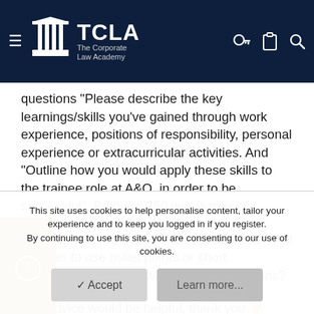TCLA – The Corporate Law Academy
questions "Please describe the key learnings/skills you've gained through work experience, positions of responsibility, personal experience or extracurricular activities. And "Outline how you would apply these skills to the trainee role at A&O, in order to be successful". Both are 250 words max.
This might be a silly question but do you think it is better to use bullet points or short paragraphs when answering these questions?
Any advice would be helpful, thank you 🙂
This site uses cookies to help personalise content, tailor your experience and to keep you logged in if you register.
By continuing to use this site, you are consenting to our use of cookies.